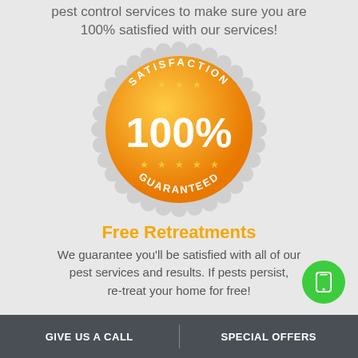pest control services to make sure you are 100% satisfied with our services!
[Figure (illustration): Orange satisfaction guaranteed badge/seal with '100%' in large white text, 'SATISFACTION' text curved at top, 'GUARANTEED' text curved at bottom, and five stars, on a silver scalloped backing]
Free Retreatments
We guarantee you'll be satisfied with all of our pest services and results. If pests persist, re-treat your home for free!
GIVE US A CALL   SPECIAL OFFERS